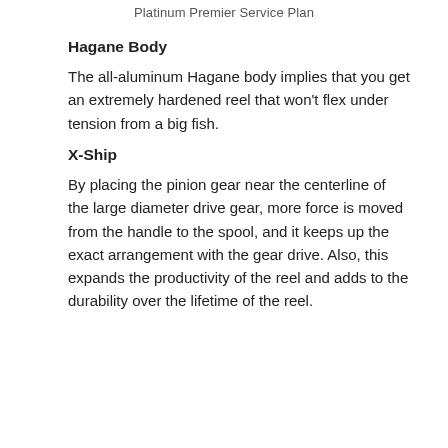Platinum Premier Service Plan
Hagane Body
The all-aluminum Hagane body implies that you get an extremely hardened reel that won't flex under tension from a big fish.
X-Ship
By placing the pinion gear near the centerline of the large diameter drive gear, more force is moved from the handle to the spool, and it keeps up the exact arrangement with the gear drive. Also, this expands the productivity of the reel and adds to the durability over the lifetime of the reel.